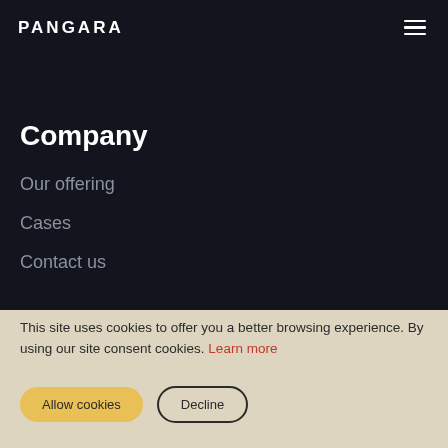PANGARA
Company
Our offering
Cases
Contact us
This site uses cookies to offer you a better browsing experience. By using our site consent cookies. Learn more
Allow cookies
Decline